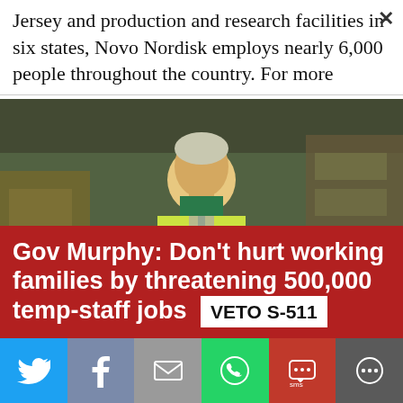Jersey and production and research facilities in six states, Novo Nordisk employs nearly 6,000 people throughout the country. For more
[Figure (photo): Woman in yellow high-visibility vest with arms crossed standing in a warehouse/industrial setting]
[Figure (infographic): Red banner overlay reading: Gov Murphy: Don't hurt working families by threatening 500,000 temp-staff jobs VETO S-511]
[Figure (infographic): Social sharing bar with Twitter, Facebook, Email, WhatsApp, SMS, and More buttons]